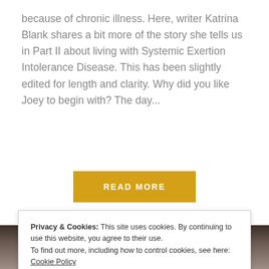because of chronic illness. Here, writer Katrina Blank shares a bit more of the story she tells us in Part II about living with Systemic Exertion Intolerance Disease. This has been slightly edited for length and clarity. Why did you like Joey to begin with? The day...
READ MORE
[Figure (photo): Top of a person's head with dark brown hair, cropped photo showing hair and scalp against a light gray background.]
Privacy & Cookies: This site uses cookies. By continuing to use this website, you agree to their use.
To find out more, including how to control cookies, see here: Cookie Policy
Close and accept